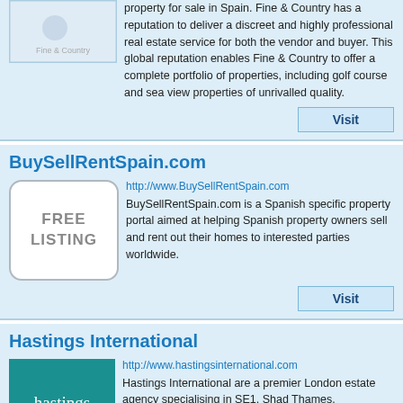property for sale in Spain. Fine & Country has a reputation to deliver a discreet and highly professional real estate service for both the vendor and buyer. This global reputation enables Fine & Country to offer a complete portfolio of properties, including golf course and sea view properties of unrivalled quality.
Visit
BuySellRentSpain.com
http://www.BuySellRentSpain.com
BuySellRentSpain.com is a Spanish specific property portal aimed at helping Spanish property owners sell and rent out their homes to interested parties worldwide.
Visit
Hastings International
http://www.hastingsinternational.com
Hastings International are a premier London estate agency specialising in SE1, Shad Thames, Bermondsey, Borough and surrounding areas.
Visit